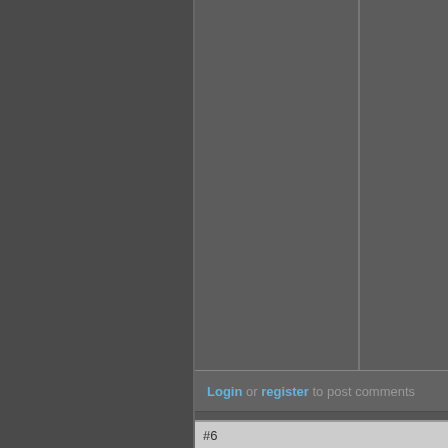Login or register to post comments
#6
Sapient
High Level Donor
Co-Founder
Core Member  Site Admin
Posts: 7580
Joined: 2006-04-18
Offline
Rich Wo
Rich W
I gave yo stink.